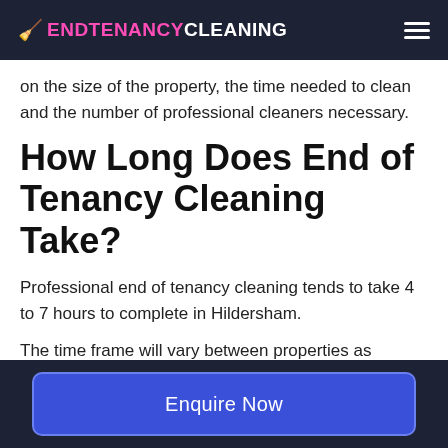ENDTENANCYCLEANING
on the size of the property, the time needed to clean and the number of professional cleaners necessary.
How Long Does End of Tenancy Cleaning Take?
Professional end of tenancy cleaning tends to take 4 to 7 hours to complete in Hildersham.
The time frame will vary between properties as various factors, such as size, condition, and services, may impact how long a job will take.
Enquire Now